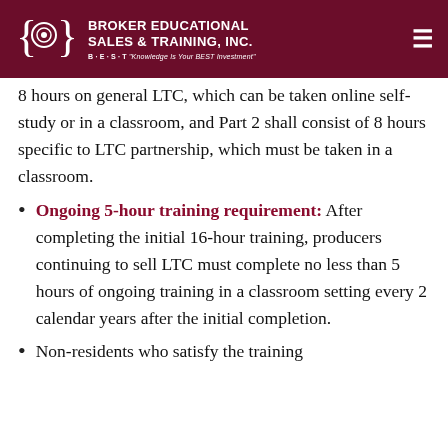BROKER EDUCATIONAL SALES & TRAINING, INC. B·E·S·T "Knowledge Is Your BEST Investment"
8 hours on general LTC, which can be taken online self-study or in a classroom, and Part 2 shall consist of 8 hours specific to LTC partnership, which must be taken in a classroom.
Ongoing 5-hour training requirement: After completing the initial 16-hour training, producers continuing to sell LTC must complete no less than 5 hours of ongoing training in a classroom setting every 2 calendar years after the initial completion.
Non-residents who satisfy the training